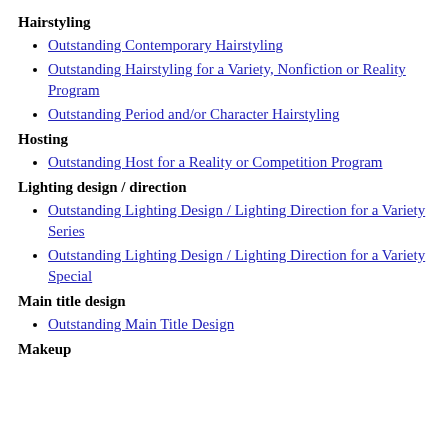Hairstyling
Outstanding Contemporary Hairstyling
Outstanding Hairstyling for a Variety, Nonfiction or Reality Program
Outstanding Period and/or Character Hairstyling
Hosting
Outstanding Host for a Reality or Competition Program
Lighting design / direction
Outstanding Lighting Design / Lighting Direction for a Variety Series
Outstanding Lighting Design / Lighting Direction for a Variety Special
Main title design
Outstanding Main Title Design
Makeup